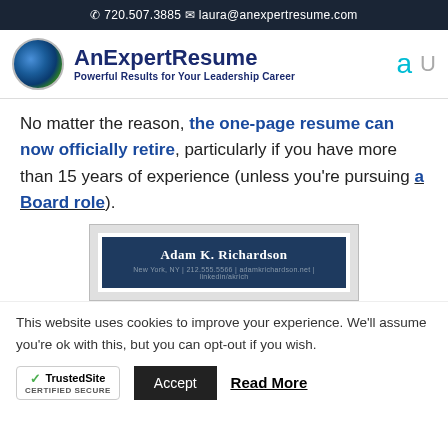☎ 720.507.3885  ✉ laura@anexpertresume.com
[Figure (logo): AnExpertResume logo with globe icon, company name 'AnExpertResume' and tagline 'Powerful Results for Your Leadership Career']
No matter the reason, the one-page resume can now officially retire, particularly if you have more than 15 years of experience (unless you're pursuing a Board role).
[Figure (screenshot): Resume sample showing header with name 'Adam K. Richardson' on dark navy background with contact details below]
This website uses cookies to improve your experience. We'll assume you're ok with this, but you can opt-out if you wish.
TrustedSite CERTIFIED SECURE | Accept | Read More